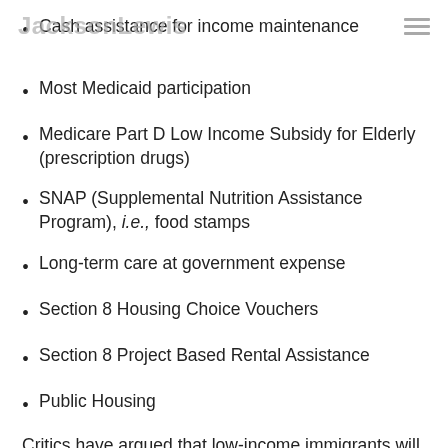JacksonLewis
Cash assistance for income maintenance
Most Medicaid participation
Medicare Part D Low Income Subsidy for Elderly (prescription drugs)
SNAP (Supplemental Nutrition Assistance Program), i.e., food stamps
Long-term care at government expense
Section 8 Housing Choice Vouchers
Section 8 Project Based Rental Assistance
Public Housing
Critics have argued that low-income immigrants will be intimidated into not accepting benefits that are not covered by the new Rule out of fear and that this